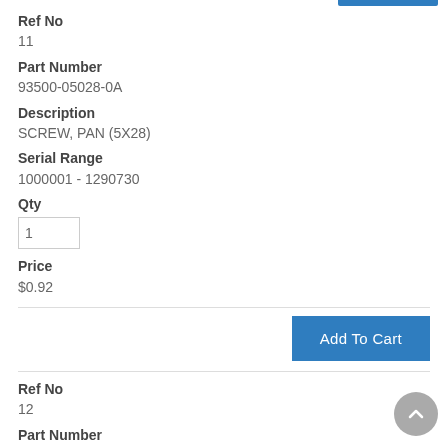Ref No
11
Part Number
93500-05028-0A
Description
SCREW, PAN (5X28)
Serial Range
1000001 - 1290730
Qty
1
Price
$0.92
Add To Cart
Ref No
12
Part Number
94050-06000
Description